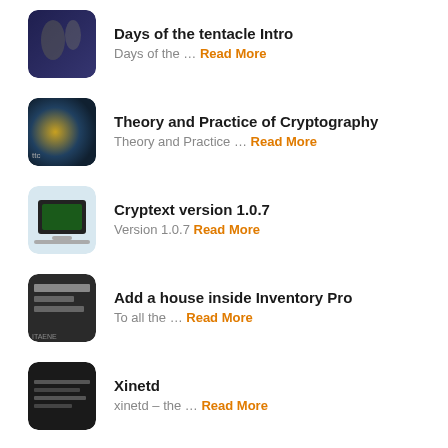Days of the tentacle Intro — Days of the … Read More
Theory and Practice of Cryptography — Theory and Practice … Read More
Cryptext version 1.0.7 — Version 1.0.7 Read More
Add a house inside Inventory Pro — To all the … Read More
Xinetd — xinetd – the … Read More
Documentation pour Inventaire — Documentation pour Inventaire. … Read More